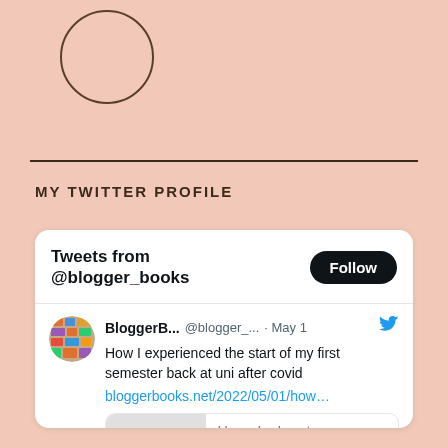[Figure (illustration): Circular placeholder outline (profile image area) at top left]
MY TWITTER PROFILE
[Figure (screenshot): Twitter widget embed showing Tweets from @blogger_books with a Follow button, a tweet from BloggerB... (@blogger_...) dated May 1 saying 'How I experienced the start of my first semester back at uni after covid' with link bloggerbooks.net/2022/05/01/how... and a link preview card showing bloggerbooks.net and the title 'How I experienced the start of my first semest...']